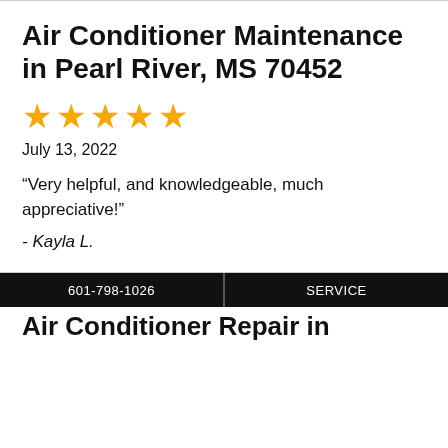Air Conditioner Maintenance in Pearl River, MS 70452
[Figure (other): Five gold star rating icons]
July 13, 2022
“Very helpful, and knowledgeable, much appreciative!”
- Kayla L.
601-798-1026   SERVICE
Air Conditioner Repair in